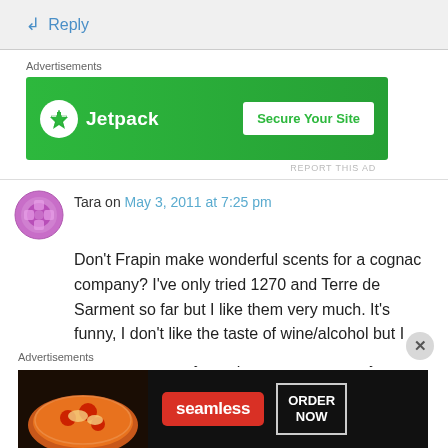↳ Reply
Advertisements
[Figure (screenshot): Jetpack advertisement banner — green background with Jetpack logo and 'Secure Your Site' button]
REPORT THIS AD
Tara on May 3, 2011 at 7:25 pm
[Figure (illustration): Purple decorative avatar icon for user Tara]
Don't Frapin make wonderful scents for a cognac company? I've only tried 1270 and Terre de Sarment so far but I like them very much. It's funny, I don't like the taste of wine/alcohol but I love the smell! My sample of 1697 is finally on
Advertisements
[Figure (screenshot): Seamless food delivery advertisement — dark background with pizza image, Seamless logo, and ORDER NOW button]